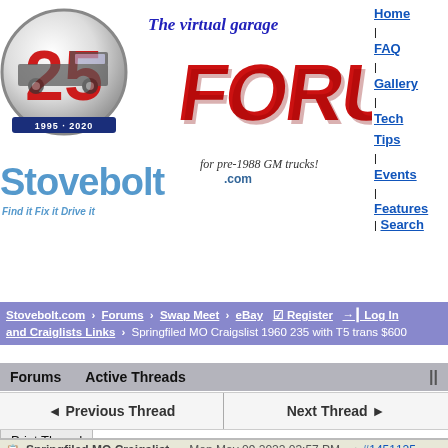[Figure (logo): Stovebolt.com 25th anniversary logo with truck silhouette, red FORUMS text, italic 'The virtual garage' tagline and 'for pre-1988 GM trucks!' subtitle]
Home | FAQ | Gallery | Tech Tips | Events | Features | Search
Stovebolt.com > Forums > Swap Meet > eBay and Craiglists Links > Springfiled MO Craigslist 1960 235 with T5 trans $600
Forums  Active Threads  ||
◄ Previous Thread    Next Thread ►
Print Thread
Springfiled MO Craigslist...  Mon May 09 2022 03:57 PM  #1451125
Gdads51  ⊙  OP    Joined: Sep 2009
*Bolter    Posts: 242
             Missouri, USA
Came across this 2 day old add (Not Mine) this morning in Springfield MO craigslist for a recently removed 1960 235